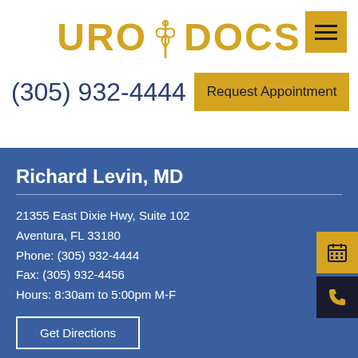[Figure (logo): URO DOCS logo with caduceus symbol in gold/yellow color]
(305) 932-4444
Request Appointment
Richard Levin, MD
21355 East Dixie Hwy, Suite 102
Aventura, FL 33180
Phone: (305) 932-4444
Fax: (305) 932-4456
Hours: 8:30am to 5:00pm M-F
Get Directions
Quick Links